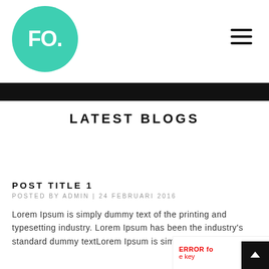[Figure (logo): Teal circle logo with white bold text 'FO.' inside]
[Figure (other): Hamburger menu icon (three horizontal lines)]
LATEST BLOGS
POST TITLE 1
POSTED BY ADMIN | 24 FEBRUARI 2016
Lorem Ipsum is simply dummy text of the printing and typesetting industry. Lorem Ipsum has been the industry's standard dummy textLorem Ipsum is simply dummy...